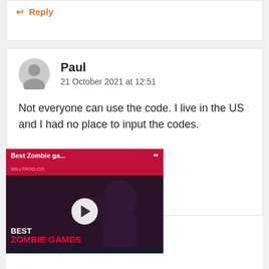↩ Reply
Paul
21 October 2021 at 12:51
Not everyone can use the code. I live in the US and I had no place to input the codes.
[Figure (screenshot): Video thumbnail overlay showing 'Best Zombie ga...' with a play button and text 'BEST ZOMBIE GAMES' on dark background]
Kyle
23 October 2021 at 00:54